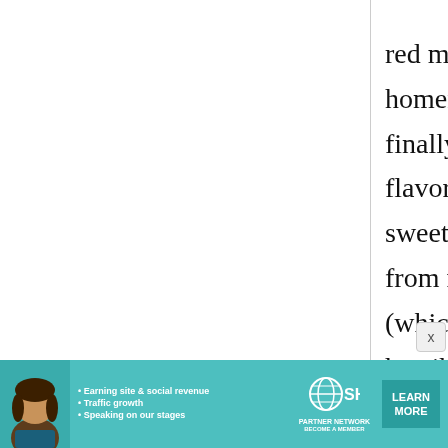red miso, so we'd use that and add homemade dashi for soup, but it finally got to the point where the flavor, for me, was not the kind of sweet flavor I had come to love from restaurant style miso soups (which I guess are probably horribly cheap, mass produced
[Figure (infographic): Advertisement banner for SHE Partner Network. Features a woman's photo on the left, bullet points: Earning site & social revenue, Traffic growth, Speaking on our stages. SHE Partner Network logo in center, BECOME A MEMBER text below. LEARN MORE button on the right.]